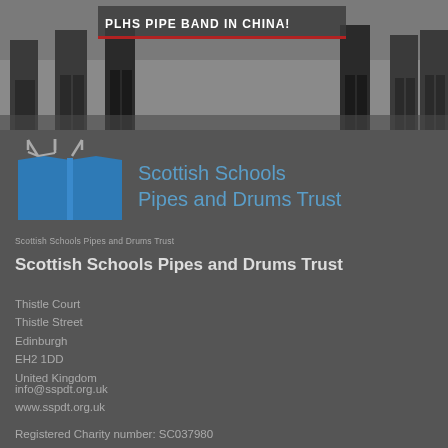[Figure (photo): Black and white photo of people (pipe band members) from the waist down, standing in a group. Banner text reads PLHS PIPE BAND IN CHINA! with a red underline.]
[Figure (logo): Scottish Schools Pipes and Drums Trust logo featuring a blue book with bagpipe drones above it, and the text Scottish Schools Pipes and Drums Trust in blue.]
Scottish Schools Pipes and Drums Trust
Scottish Schools Pipes and Drums Trust
Thistle Court
Thistle Street
Edinburgh
EH2 1DD
United Kingdom
info@sspdt.org.uk
www.sspdt.org.uk
Registered Charity number: SC037980